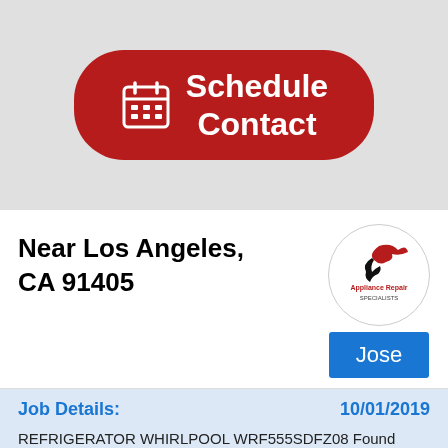[Figure (illustration): Red rounded rectangle button with white calendar icon and text 'Schedule Contact' in white bold font on a gray background]
Near Los Angeles, CA 91405
[Figure (logo): Appliance Repair Specialists logo inside a circle with a bird/falcon graphic and red/black text]
Jose
Job Details:
10/01/2019
REFRIGERATOR WHIRLPOOL WRF555SDFZ08 Found return vent clog with ice steamed it out check air flow adjusted temp complete call